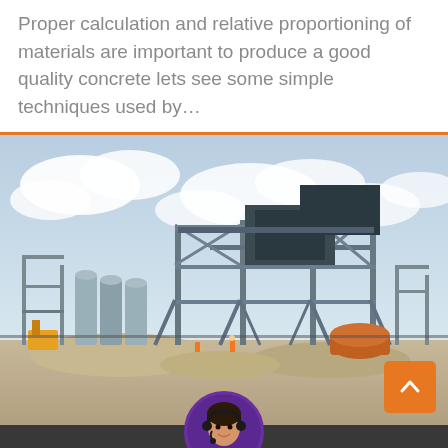Proper calculation and relative proportioning of materials are important to produce a good quality concrete lets see some simple techniques used by…
[Figure (photo): Construction site with industrial steel frame structures, silos, heavy machinery, and earthwork in the foreground under a partly cloudy sky.]
Leave Message   Chat Online